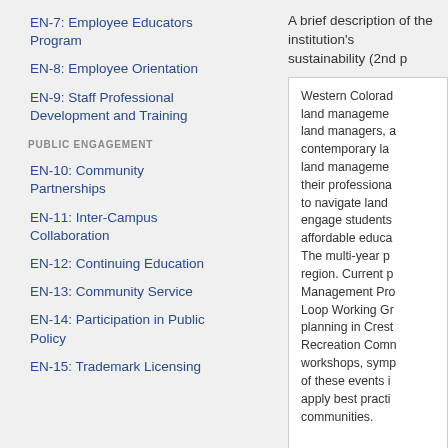EN-7: Employee Educators Program
EN-8: Employee Orientation
EN-9: Staff Professional Development and Training
PUBLIC ENGAGEMENT
EN-10: Community Partnerships
EN-11: Inter-Campus Collaboration
EN-12: Continuing Education
EN-13: Community Service
EN-14: Participation in Public Policy
EN-15: Trademark Licensing
A brief description of the institution's sustainability (2nd p
Western Colorad land manageme land managers, a contemporary la land manageme their professiona to navigate land engage students affordable educa The multi-year p region. Current p Management Pro Loop Working Gr planning in Crest Recreation Comn workshops, symp of these events i apply best practi communities.